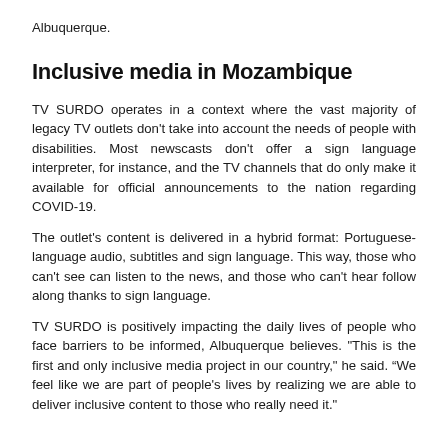Albuquerque.
Inclusive media in Mozambique
TV SURDO operates in a context where the vast majority of legacy TV outlets don't take into account the needs of people with disabilities. Most newscasts don't offer a sign language interpreter, for instance, and the TV channels that do only make it available for official announcements to the nation regarding COVID-19.
The outlet's content is delivered in a hybrid format: Portuguese-language audio, subtitles and sign language. This way, those who can't see can listen to the news, and those who can't hear follow along thanks to sign language.
TV SURDO is positively impacting the daily lives of people who face barriers to be informed, Albuquerque believes. "This is the first and only inclusive media project in our country," he said. “We feel like we are part of people's lives by realizing we are able to deliver inclusive content to those who really need it."